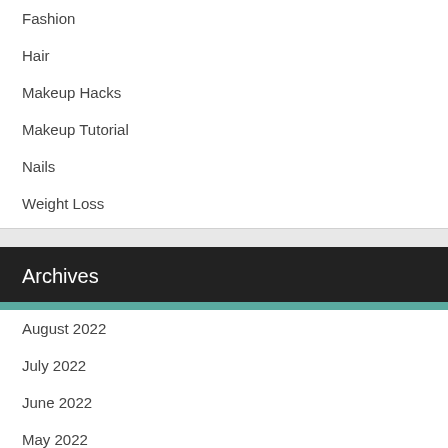Fashion
Hair
Makeup Hacks
Makeup Tutorial
Nails
Weight Loss
Archives
August 2022
July 2022
June 2022
May 2022